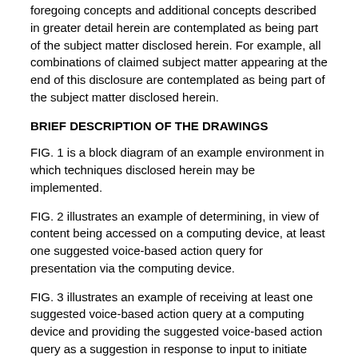foregoing concepts and additional concepts described in greater detail herein are contemplated as being part of the subject matter disclosed herein. For example, all combinations of claimed subject matter appearing at the end of this disclosure are contemplated as being part of the subject matter disclosed herein.
BRIEF DESCRIPTION OF THE DRAWINGS
FIG. 1 is a block diagram of an example environment in which techniques disclosed herein may be implemented.
FIG. 2 illustrates an example of determining, in view of content being accessed on a computing device, at least one suggested voice-based action query for presentation via the computing device.
FIG. 3 illustrates an example of receiving at least one suggested voice-based action query at a computing device and providing the suggested voice-based action query as a suggestion in response to input to initiate providing of a voice-based query.
FIG. 4 is a flowchart illustrating an example method of determining, in view of content being accessed on a